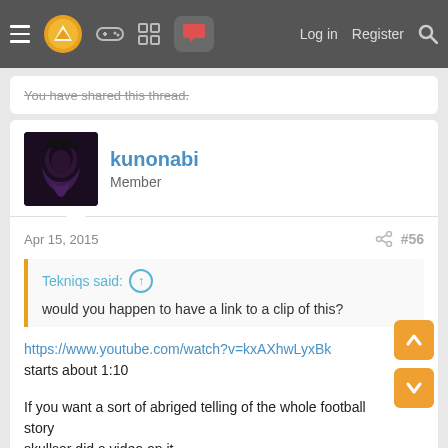Log in  Register
You have shared this thread.
kunonabi
Member
Apr 15, 2015  #56
Tekniqs said: ↑
would you happen to have a link to a clip of this?
https://www.youtube.com/watch?v=kxAXhwLyxBk
starts about 1:10
If you want a sort of abriged telling of the whole football story skullsar did a video on it